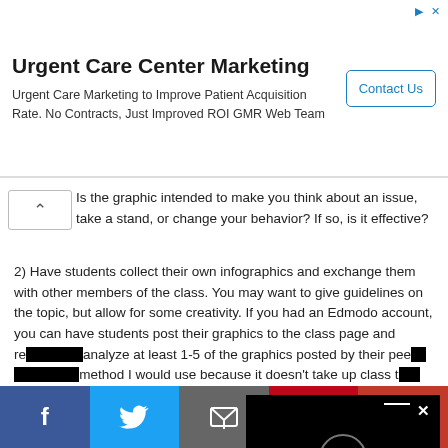[Figure (screenshot): Advertisement banner for Urgent Care Center Marketing with 'Contact Us' button]
Is the graphic intended to make you think about an issue, take a stand, or change your behavior? If so, is it effective?
2) Have students collect their own infographics and exchange them with other members of the class. You may want to give guidelines on the topic, but allow for some creativity. If you had an Edmodo account, you can have students post their graphics to the class page and re[view and] analyze at least 1-5 of the graphics posted by their pee[rs. This is the] method I would use because it doesn't take up class t[ime or] require students to print large colorful graphics to bring with them to class.
3) Have students create their own infographics. This is probably best done
[Figure (screenshot): Video player overlay with close button (X) and loading spinner on black background]
[Figure (screenshot): Social sharing bar with Facebook, Twitter, Email, Pinterest, and More (+) buttons]